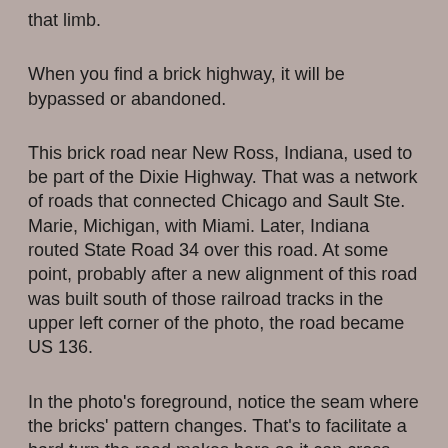that limb.
When you find a brick highway, it will be bypassed or abandoned.
This brick road near New Ross, Indiana, used to be part of the Dixie Highway. That was a network of roads that connected Chicago and Sault Ste. Marie, Michigan, with Miami. Later, Indiana routed State Road 34 over this road. At some point, probably after a new alignment of this road was built south of those railroad tracks in the upper left corner of the photo, the road became US 136.
In the photo's foreground, notice the seam where the bricks' pattern changes. That's to facilitate a hard turn the road makes here so it can cross those railroad tracks at a right angle.